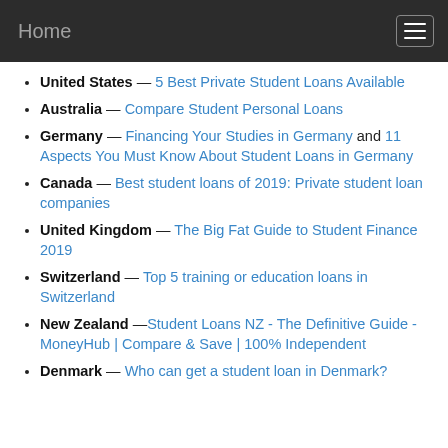Home
United States — 5 Best Private Student Loans Available
Australia — Compare Student Personal Loans
Germany — Financing Your Studies in Germany and 11 Aspects You Must Know About Student Loans in Germany
Canada — Best student loans of 2019: Private student loan companies
United Kingdom — The Big Fat Guide to Student Finance 2019
Switzerland — Top 5 training or education loans in Switzerland
New Zealand —Student Loans NZ - The Definitive Guide - MoneyHub | Compare & Save | 100% Independent
Denmark — Who can get a student loan in Denmark?